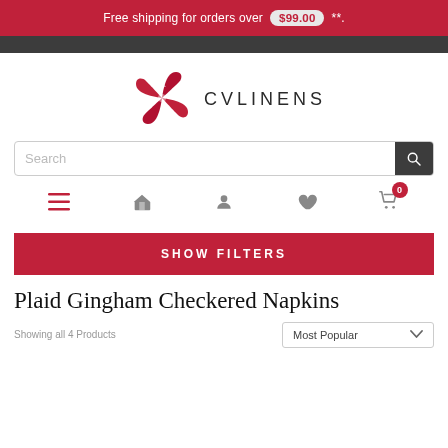Free shipping for orders over $99.00 **.
[Figure (logo): CV Linens logo with stylized red flower/pinwheel icon and text 'CVLINENS']
Search
Navigation icons: menu, home, account, wishlist, cart (0)
SHOW FILTERS
Plaid Gingham Checkered Napkins
Showing all 4 Products
Most Popular